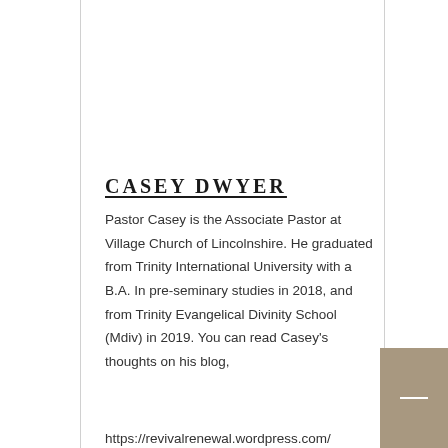CASEY DWYER
Pastor Casey is the Associate Pastor at Village Church of Lincolnshire. He graduated from Trinity International University with a B.A. In pre-seminary studies in 2018, and from Trinity Evangelical Divinity School (Mdiv) in 2019. You can read Casey's thoughts on his blog,
https://revivalrenewal.wordpress.com/